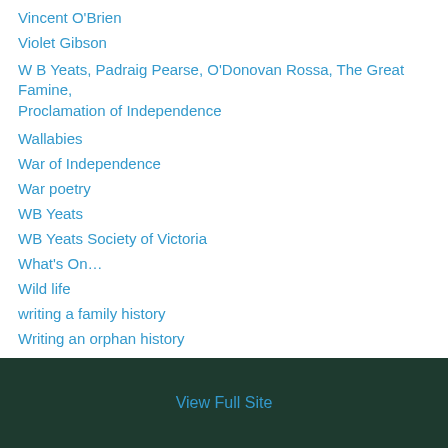Vincent O'Brien
Violet Gibson
W B Yeats, Padraig Pearse, O'Donovan Rossa, The Great Famine, Proclamation of Independence
Wallabies
War of Independence
War poetry
WB Yeats
WB Yeats Society of Victoria
What's On…
Wild life
writing a family history
Writing an orphan history
WWI
WWI Literature
View Full Site